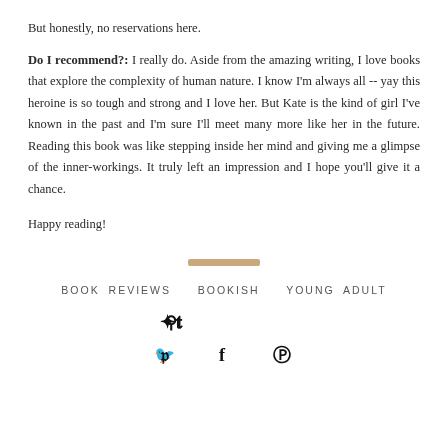But honestly, no reservations here.
Do I recommend?: I really do. Aside from the amazing writing, I love books that explore the complexity of human nature. I know I'm always all -- yay this heroine is so tough and strong and I love her. But Kate is the kind of girl I've known in the past and I'm sure I'll meet many more like her in the future. Reading this book was like stepping inside her mind and giving me a glimpse of the inner-workings. It truly left an impression and I hope you'll give it a chance.
Happy reading!
[Figure (other): Decorative horizontal tan/gold divider bar]
BOOK REVIEWS  BOOKISH  YOUNG ADULT
Twitter, Facebook, Pinterest social icons